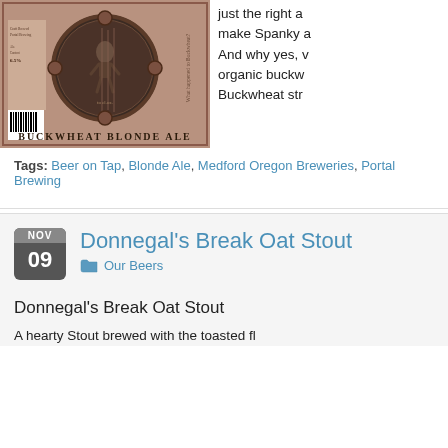[Figure (photo): Beer label for Buckwheat Blonde Ale by Portal Brewing, showing a vintage-style label with a circular medallion, a figure in the center, and text reading 'BUCKWHEAT BLONDE ALE', Ale Content 6.5%, with a barcode on the left side.]
just the right a make Spanky a And why yes, v organic buckw Buckwheat str
Tags: Beer on Tap, Blonde Ale, Medford Oregon Breweries, Portal Brewing
Donnegal's Break Oat Stout
Our Beers
Donnegal's Break Oat Stout
A hearty Stout brewed with the toasted fl...